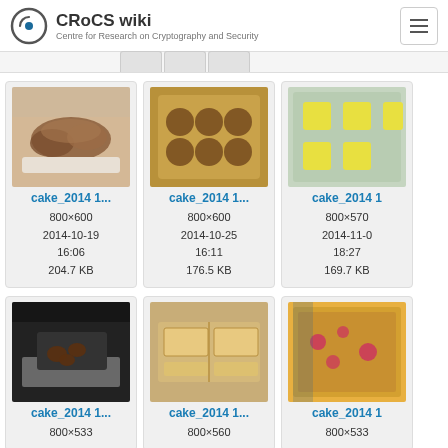CRoCS wiki — Centre for Research on Cryptography and Security
[Figure (screenshot): Gallery of cake images from CRoCS wiki with filenames, dimensions, dates, times, and file sizes]
cake_2014 1... 800×600 2014-10-19 16:06 204.7 KB
cake_2014 1... 800×600 2014-10-25 16:11 176.5 KB
cake_2014 1 800×570 2014-11-0 18:27 169.7 KB
cake_2014 1... 800×533
cake_2014 1... 800×560
cake_2014 1 800×533